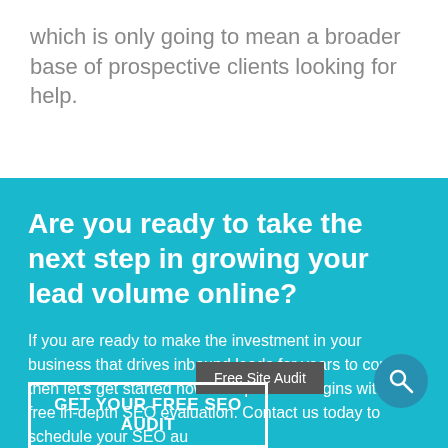which is only going to mean a broader base of prospective clients looking for help.
Are you ready to take the next step in growing your lead volume online?
If you are ready to make the investment in your business that drives inbound leads for years to come, then let’s get started now. Our process begins with a free in-depth SEO evaluation. Contact us today to schedule your SEO au…
Free Site Audit
GET YOUR FREE SEO AUDIT